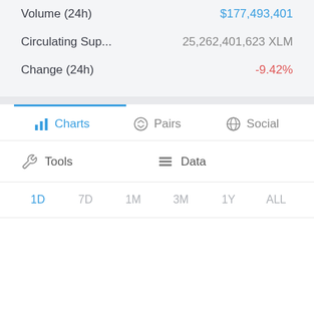| Metric | Value |
| --- | --- |
| Volume (24h) | $177,493,401 |
| Circulating Sup... | 25,262,401,623 XLM |
| Change (24h) | -9.42% |
Charts | Pairs | Social
Tools | Data
1D  7D  1M  3M  1Y  ALL